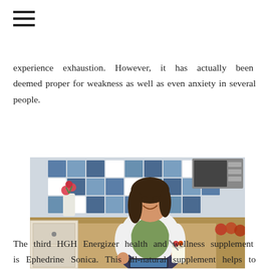[Figure (other): Hamburger menu icon (three horizontal lines) in the top-left corner]
experience exhaustion. However, it has actually been deemed proper for weakness as well as even anxiety in several people.
[Figure (photo): A smiling woman with dark hair sitting in a kitchen, eating from a small cup/bowl with a spoon, holding it in one hand; she wears a white cardigan over a green top and dark jeans; a tablet rests on her lap; background shows blue and white checkered kitchen tiles, white cabinets, a wooden countertop with a flower vase.]
The third HGH Energizer health and wellness supplement is Ephedrine Sonica. This all-natural supplement helps to remove fat in the body by boosting metabolic rate. As an outcome of raised metabolic rates, a person can delight in enhanced focus, high